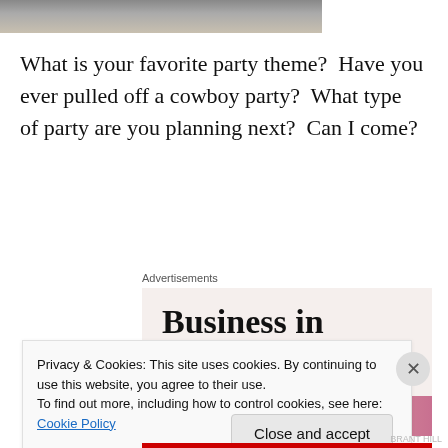[Figure (photo): Partial photo strip at top of page showing people, cropped]
What is your favorite party theme?  Have you ever pulled off a cowboy party?  What type of party are you planning next?  Can I come?
Advertisements
[Figure (screenshot): Advertisement: 'Business in the front...' text on light background, with WordPress logo on gradient orange-pink bar]
Privacy & Cookies: This site uses cookies. By continuing to use this website, you agree to their use.
To find out more, including how to control cookies, see here: Cookie Policy
Close and accept